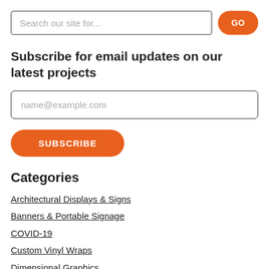Search our site for...
Subscribe for email updates on our latest projects
name@example.com
SUBSCRIBE
Categories
Architectural Displays & Signs
Banners & Portable Signage
COVID-19
Custom Vinyl Wraps
Dimensional Graphics